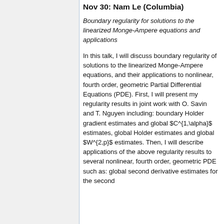Nov 30: Nam Le (Columbia)
Boundary regularity for solutions to the linearized Monge-Ampere equations and applications
In this talk, I will discuss boundary regularity of solutions to the linearized Monge-Ampere equations, and their applications to nonlinear, fourth order, geometric Partial Differential Equations (PDE). First, I will present my regularity results in joint work with O. Savin and T. Nguyen including: boundary Holder gradient estimates and global $C^{1,\alpha}$ estimates, global Holder estimates and global $W^{2,p}$ estimates. Then, I will describe applications of the above regularity results to several nonlinear, fourth order, geometric PDE such as: global second derivative estimates for the second